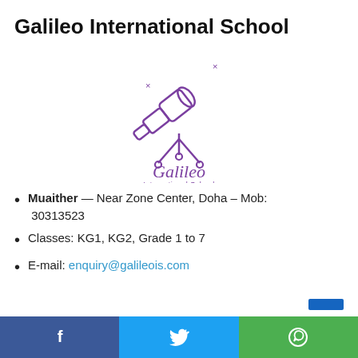Galileo International School
[Figure (logo): Galileo International School logo: a purple line-art telescope on a tripod with small stars/x marks, and text 'Galileo International School' in purple below]
Muaither — Near Zone Center, Doha – Mob: 30313523
Classes: KG1, KG2, Grade 1 to 7
E-mail: enquiry@galileois.com